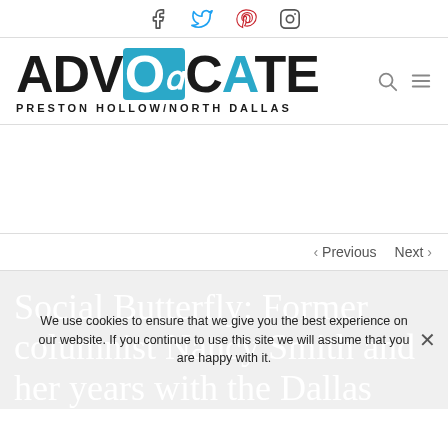Social media icons: Facebook, Twitter, Pinterest, Instagram
[Figure (logo): Advocate Preston Hollow/North Dallas logo with teal 'O' containing stylized 'a', search and menu icons]
[Figure (other): Advertisement space (blank)]
< Previous   Next >
Social Butterfly: Former columnist Nancy Smith and her years with the Dallas Morning
We use cookies to ensure that we give you the best experience on our website. If you continue to use this site we will assume that you are happy with it.